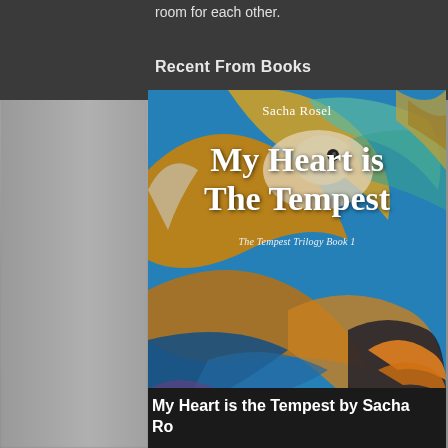room for each other.
Recent From Books
[Figure (illustration): Book cover for 'My Heart is The Tempest' by Sacha Rosel. Abstract surreal artwork with golden, blue, and teal swirling shapes resembling a bird or creature amid metallic and aquatic forms. White text overlaid with author name and title.]
My Heart is the Tempest by Sacha Rosel